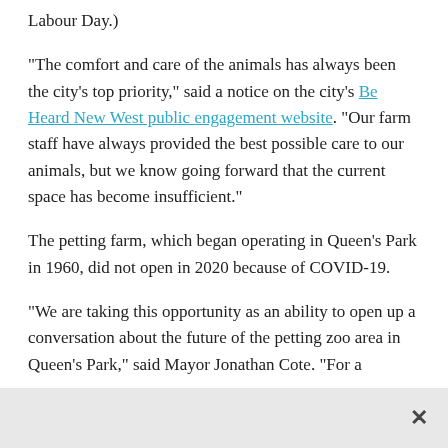Labour Day.)
“The comfort and care of the animals has always been the city’s top priority,” said a notice on the city’s Be Heard New West public engagement website. “Our farm staff have always provided the best possible care to our animals, but we know going forward that the current space has become insufficient.”
The petting farm, which began operating in Queen’s Park in 1960, did not open in 2020 because of COVID-19.
“We are taking this opportunity as an ability to open up a conversation about the future of the petting zoo area in Queen’s Park,” said Mayor Jonathan Cote. “For a